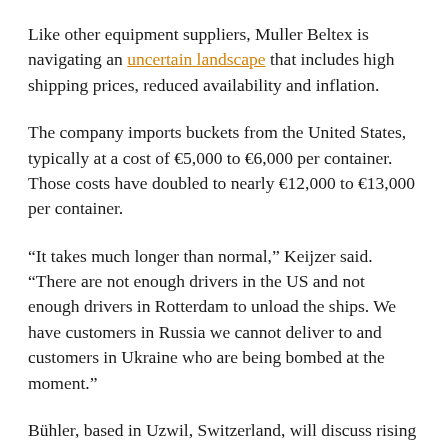Like other equipment suppliers, Muller Beltex is navigating an uncertain landscape that includes high shipping prices, reduced availability and inflation.
The company imports buckets from the United States, typically at a cost of €5,000 to €6,000 per container. Those costs have doubled to nearly €12,000 to €13,000 per container.
“It takes much longer than normal,” Keijzer said. “There are not enough drivers in the US and not enough drivers in Rotterdam to unload the ships. We have customers in Russia we cannot deliver to and customers in Ukraine who are being bombed at the moment.”
Bühler, based in Uzwil, Switzerland, will discuss rising prices early on in a new project or equipment purchase, said Christian Hilber, head of product management and marketing, business area value nutrition.